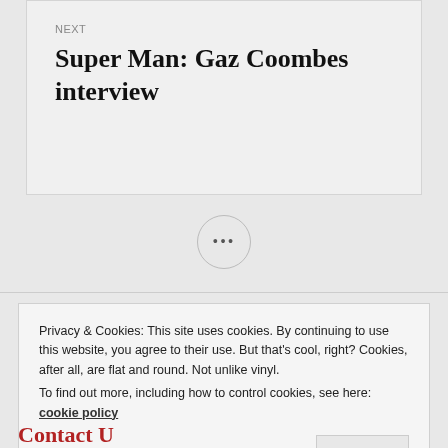NEXT
Super Man: Gaz Coombes interview
[Figure (other): Three dots in a circle navigation button]
Privacy & Cookies: This site uses cookies. By continuing to use this website, you agree to their use. But that's cool, right? Cookies, after all, are flat and round. Not unlike vinyl.
To find out more, including how to control cookies, see here: cookie policy
Accept
Contact Us